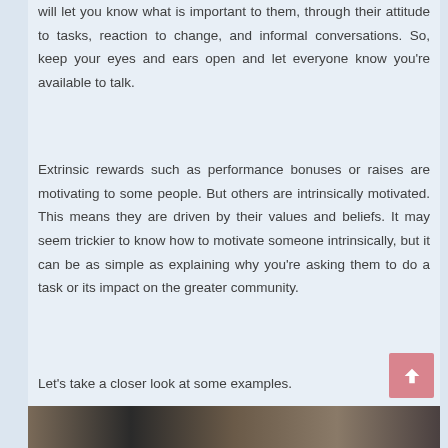will let you know what is important to them, through their attitude to tasks, reaction to change, and informal conversations. So, keep your eyes and ears open and let everyone know you're available to talk.
Extrinsic rewards such as performance bonuses or raises are motivating to some people. But others are intrinsically motivated. This means they are driven by their values and beliefs. It may seem trickier to know how to motivate someone intrinsically, but it can be as simple as explaining why you're asking them to do a task or its impact on the greater community.
Let's take a closer look at some examples.
[Figure (photo): Bottom strip of a photo showing people in a dark/shadowed setting]